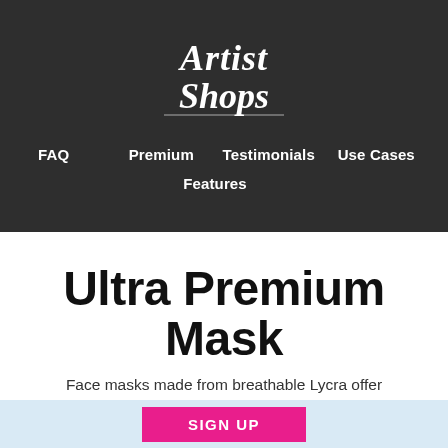[Figure (logo): Artist Shops logo in white cursive script on dark background]
FAQ  Premium  Testimonials  Use Cases  Features
Ultra Premium Mask
Face masks made from breathable Lycra offer added protection with a removable PM2.5 filter.
SIGN UP
Soft breathable Lycra — easy care, wrinkle resistant